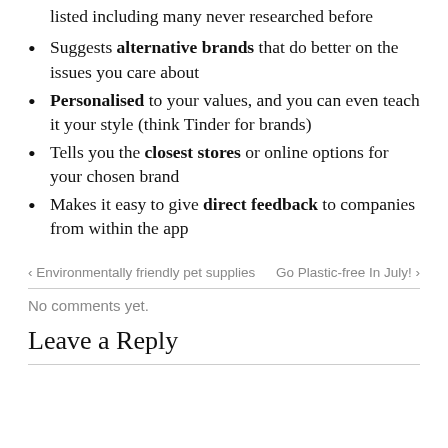listed including many never researched before
Suggests alternative brands that do better on the issues you care about
Personalised to your values, and you can even teach it your style (think Tinder for brands)
Tells you the closest stores or online options for your chosen brand
Makes it easy to give direct feedback to companies from within the app
< Environmentally friendly pet supplies    Go Plastic-free In July! >
No comments yet.
Leave a Reply